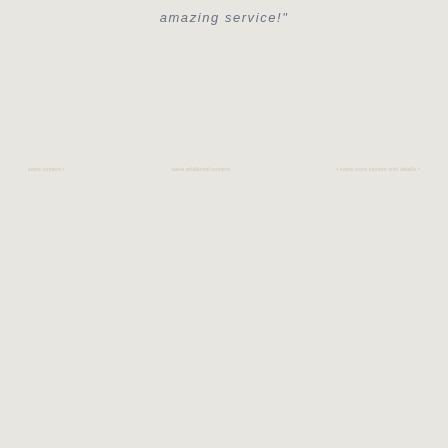amazing service!"
some content • some additional content • some more content with details